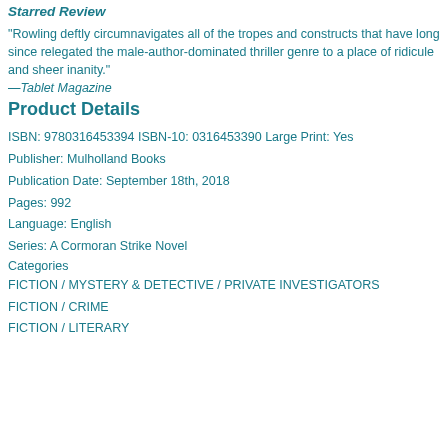Starred Review
"Rowling deftly circumnavigates all of the tropes and constructs that have long since relegated the male-author-dominated thriller genre to a place of ridicule and sheer inanity."
—Tablet Magazine
Product Details
ISBN: 9780316453394 ISBN-10: 0316453390 Large Print: Yes
Publisher: Mulholland Books
Publication Date: September 18th, 2018
Pages: 992
Language: English
Series: A Cormoran Strike Novel
Categories
FICTION / MYSTERY & DETECTIVE / PRIVATE INVESTIGATORS
FICTION / CRIME
FICTION / LITERARY